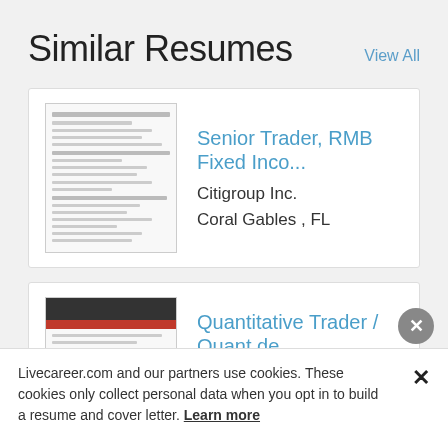Similar Resumes
View All
[Figure (screenshot): Thumbnail of a resume document]
Senior Trader, RMB Fixed Inco...
Citigroup Inc.
Coral Gables , FL
[Figure (screenshot): Thumbnail of a resume document with dark header and red bar]
Quantitative Trader / Quant de...
Mountain American Credit Union
Park City , UT
Livecareer.com and our partners use cookies. These cookies only collect personal data when you opt in to build a resume and cover letter. Learn more